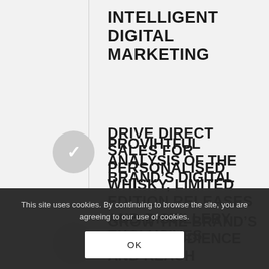INTELLIGENT DIGITAL MARKETING
DRIVE DIRECT SALES FOR PERSONALISED WHISKY, LIMITED EDITION RELEASES AND DISTILLERY EXCLUSIVES
GROW THE BRAND'S SOCIAL AUDIENCE AND REACH
PROVIDE INSIGHTFUL ANALYSIS OF THE BRAND'S DIGITAL
This site uses cookies. By continuing to browse the site, you are agreeing to our use of cookies.
OK